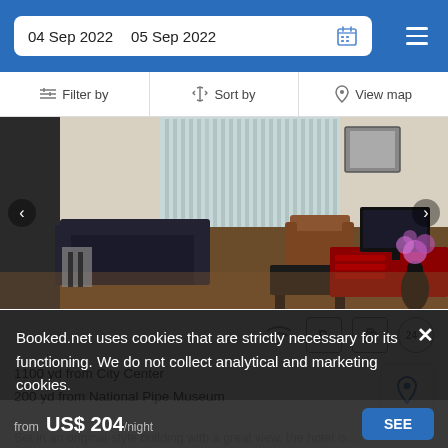04 Sep 2022  05 Sep 2022
Filter by  Sort by  View map
[Figure (photo): Interior photo of a hotel room living area with dark hardwood floors, a black sofa, brown leather chair, TV on a red media unit, and a black vase with pink flowers. Navigation arrows visible on left and right.]
[Figure (infographic): Amenity icons: WiFi, Parking (P), Luggage storage, 24-hour service]
1100 yd from City Center
200 yd from National Pipe Museum
Set in an original-style building with a great view, the hotel is...
Booked.net uses cookies that are strictly necessary for its functioning. We do not collect analytical and marketing cookies.
from  US$ 204 /night